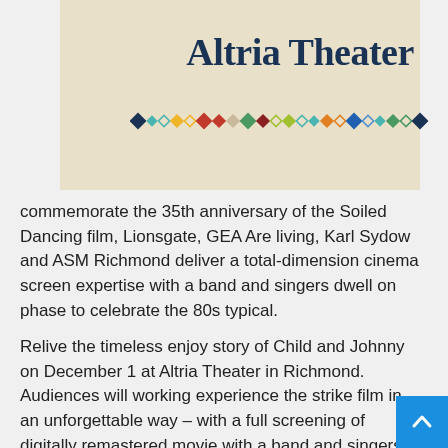[Figure (logo): Altria Theater logo on a tan/beige background with the text 'Altria Theater' in dark navy serif font, and a decorative row of multicolored diamond shapes below the text]
commemorate the 35th anniversary of the Soiled Dancing film, Lionsgate, GEA Are living, Karl Sydow and ASM Richmond deliver a total-dimension cinema screen expertise with a band and singers dwell on phase to celebrate the 80s typical.
Relive the timeless enjoy story of Child and Johnny on December 1 at Altria Theater in Richmond. Audiences will working experience the strike film in an unforgettable way – with a full screening of digitally remastered movie with a band and singers